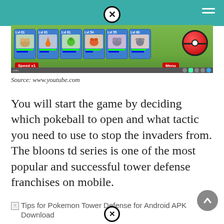[Figure (screenshot): Pokemon Tower Defense game screenshot showing pokemon party slots with level indicators, HP/EXP bars, a large pokeball, Speed x1 button, and Menu button]
Source: www.youtube.com
You will start the game by deciding which pokeball to open and what tactic you need to use to stop the invaders from. The bloons td series is one of the most popular and successful tower defense franchises on mobile.
[Figure (screenshot): Tips for Pokemon Tower Defense for Android APK Download - broken image placeholder]